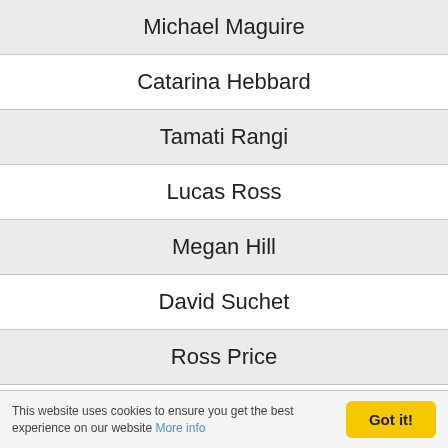Michael Maguire
Catarina Hebbard
Tamati Rangi
Lucas Ross
Megan Hill
David Suchet
Ross Price
Liam Neeson
Simon Pegg
Ozzie Devrish
This website uses cookies to ensure you get the best experience on our website More info Got it!